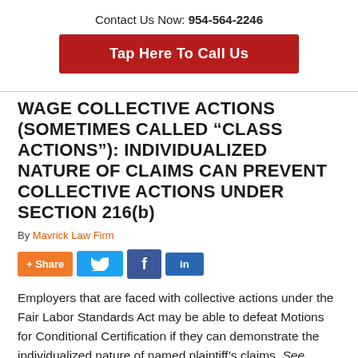Contact Us Now: 954-564-2246
[Figure (other): Red button: Tap Here To Call Us]
WAGE COLLECTIVE ACTIONS (SOMETIMES CALLED “CLASS ACTIONS”): INDIVIDUALIZED NATURE OF CLAIMS CAN PREVENT COLLECTIVE ACTIONS UNDER SECTION 216(b)
By Mavrick Law Firm
[Figure (other): Social share buttons: + Share, Twitter, Facebook, LinkedIn]
Employers that are faced with collective actions under the Fair Labor Standards Act may be able to defeat Motions for Conditional Certification if they can demonstrate the individualized nature of named plaintiff’s claims. See Caballero v. Kelly Services, Inc.,